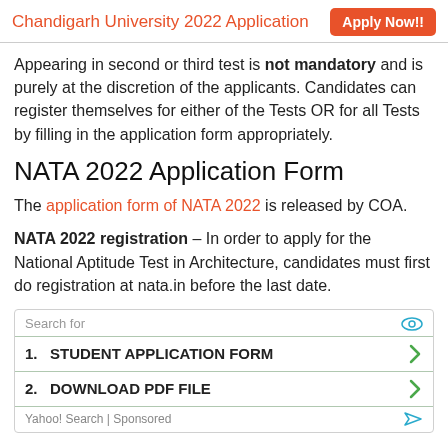Chandigarh University 2022 Application | Apply Now!!
Appearing in second or third test is not mandatory and is purely at the discretion of the applicants. Candidates can register themselves for either of the Tests OR for all Tests by filling in the application form appropriately.
NATA 2022 Application Form
The application form of NATA 2022 is released by COA.
NATA 2022 registration – In order to apply for the National Aptitude Test in Architecture, candidates must first do registration at nata.in before the last date.
[Figure (other): Advertisement box: Search for STUDENT APPLICATION FORM (1) and DOWNLOAD PDF FILE (2), Yahoo! Search | Sponsored]